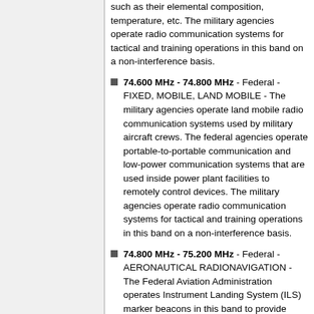such as their elemental composition, temperature, etc. The military agencies operate radio communication systems for tactical and training operations in this band on a non-interference basis.
74.600 MHz - 74.800 MHz - Federal - FIXED, MOBILE, LAND MOBILE - The military agencies operate land mobile radio communication systems used by military aircraft crews. The federal agencies operate portable-to-portable communication and low-power communication systems that are used inside power plant facilities to remotely control devices. The military agencies operate radio communication systems for tactical and training operations in this band on a non-interference basis.
74.800 MHz - 75.200 MHz - Federal - AERONAUTICAL RADIONAVIGATION - The Federal Aviation Administration operates Instrument Landing System (ILS) marker beacons in this band to provide navigational guidance information during aircraft approach and landing on 75.0 MHz.